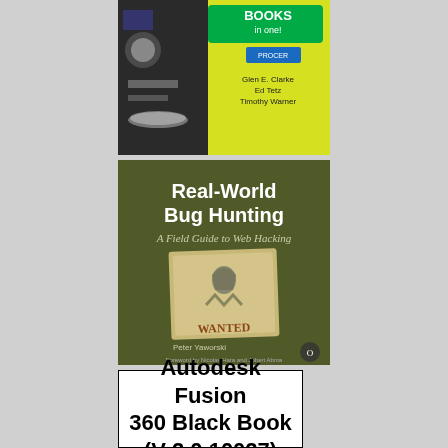[Figure (photo): Top portion of a book cover with yellow and green background, showing 'BOOKS in one!' text with PROCER logo, and authors Glen E. Clarke, Ed Tetz, Timothy Warner]
[Figure (photo): Book cover for 'Real-World Bug Hunting: A Field Guide to Web Hacking' by Peter Yaworski, with olive/dark green background featuring a WANTED poster illustration with a hooded figure]
Autodesk Fusion 360 Black Book (V 2.0.10027)